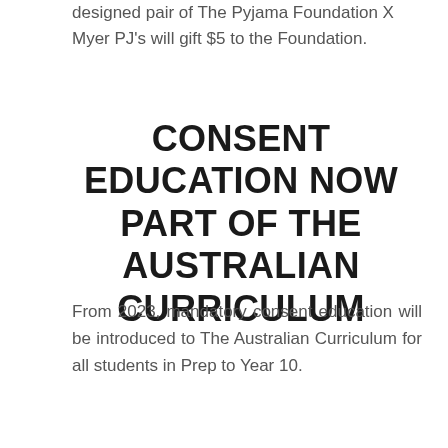designed pair of The Pyjama Foundation X Myer PJ's will gift $5 to the Foundation.
CONSENT EDUCATION NOW PART OF THE AUSTRALIAN CURRICULUM
From 2023, mandatory consent education will be introduced to The Australian Curriculum for all students in Prep to Year 10.